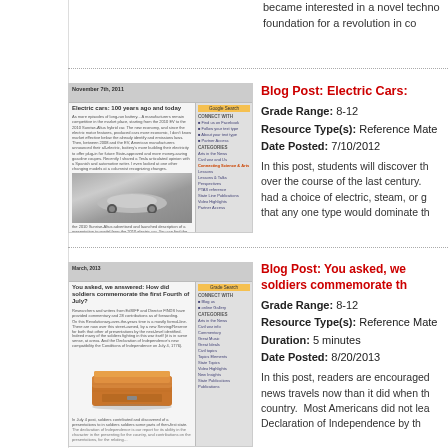became interested in a novel techno... foundation for a revolution in co
[Figure (screenshot): Screenshot of blog post about Electric Cars: 100 years ago and today, showing a silver car image and sidebar navigation]
Blog Post: Electric Cars:
Grade Range: 8-12
Resource Type(s): Reference Mate...
Date Posted: 7/10/2012
In this post, students will discover th... over the course of the last century. had a choice of electric, steam, or g... that any one type would dominate th...
[Figure (screenshot): Screenshot of blog post about soldiers commemorating the first Fourth of July, showing a wooden box/chest image and sidebar navigation]
Blog Post: You asked, we... soldiers commemorate th...
Grade Range: 8-12
Resource Type(s): Reference Mate...
Duration: 5 minutes
Date Posted: 8/20/2013
In this post, readers are encouraged... news travels now than it did when th... country. Most Americans did not lea... Declaration of Independence by th...